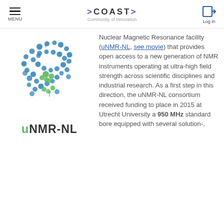MENU | >COAST> Community of Innovation | Log in
[Figure (logo): uNMR-NL logo: map of the Netherlands made of blue and green dots/arrows, with text 'uNMR-NL' below in dark and green letters]
Nuclear Magnetic Resonance facility (uNMR-NL, see movie) that provides open access to a new generation of NMR instruments operating at ultra-high field strength across scientific disciplines and industrial research. As a first step in this direction, the uNMR-NL consortium received funding to place in 2015 at Utrecht University a 950 MHz standard bore equipped with several solution-,